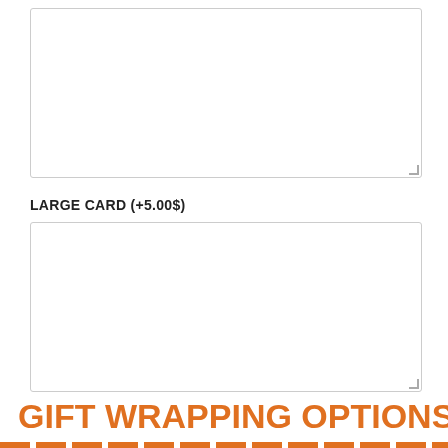[Figure (screenshot): Text area input box (empty), top of page]
LARGE CARD (+5.00$)
[Figure (screenshot): Text area input box (empty), large card section]
GIFT WRAPPING OPTIONS *
This option is for the gifts only. All our gift baskets are gift packaged, you don't need to choose the "Please gift wrap my present" option for them.
Please gift wrap my present (+5.00$)
No gift wrapping needed
[Figure (screenshot): Live Chat button (orange)]